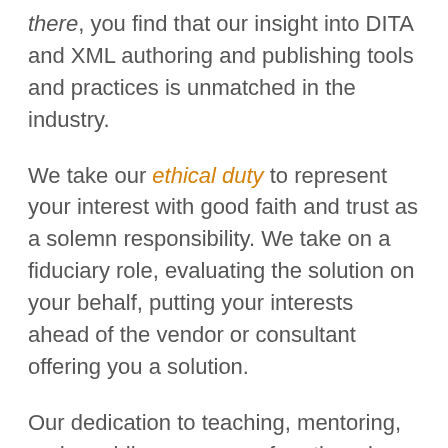there, you find that our insight into DITA and XML authoring and publishing tools and practices is unmatched in the industry.
We take our ethical duty to represent your interest with good faith and trust as a solemn responsibility. We take on a fiduciary role, evaluating the solution on your behalf, putting your interests ahead of the vendor or consultant offering you a solution.
Our dedication to teaching, mentoring, and providing resources for others is unmatched in the TPC industry.